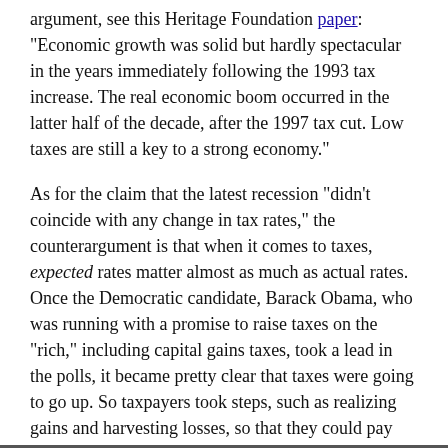argument, see this Heritage Foundation paper: "Economic growth was solid but hardly spectacular in the years immediately following the 1993 tax increase. The real economic boom occurred in the latter half of the decade, after the 1997 tax cut. Low taxes are still a key to a strong economy."
As for the claim that the latest recession "didn't coincide with any change in tax rates," the counterargument is that when it comes to taxes, expected rates matter almost as much as actual rates. Once the Democratic candidate, Barack Obama, who was running with a promise to raise taxes on the "rich," including capital gains taxes, took a lead in the polls, it became pretty clear that taxes were going to go up. So taxpayers took steps, such as realizing gains and harvesting losses, so that they could pay taxes before they increased. While that may not have been the sole cause of the recession, it may well have contributed.
If Mr. Wessel is going to make a really convincing case